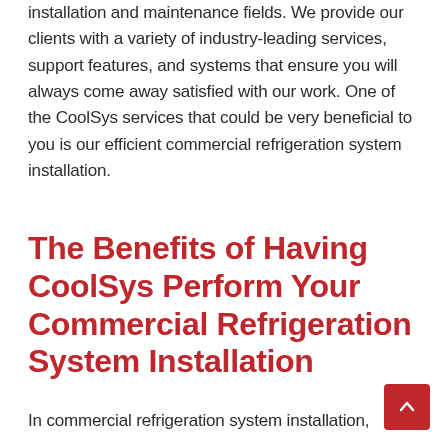installation and maintenance fields. We provide our clients with a variety of industry-leading services, support features, and systems that ensure you will always come away satisfied with our work. One of the CoolSys services that could be very beneficial to you is our efficient commercial refrigeration system installation.
The Benefits of Having CoolSys Perform Your Commercial Refrigeration System Installation
In commercial refrigeration system installation,